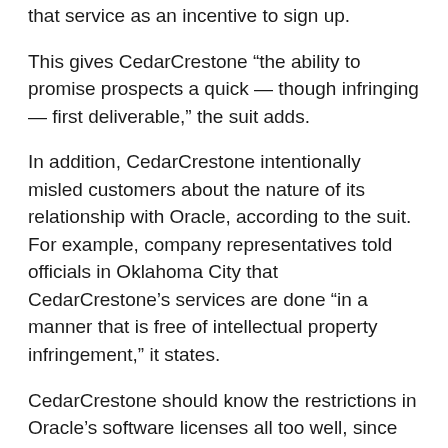that service as an incentive to sign up.
This gives CedarCrestone “the ability to promise prospects a quick — though infringing — first deliverable,” the suit adds.
In addition, CedarCrestone intentionally misled customers about the nature of its relationship with Oracle, according to the suit. For example, company representatives told officials in Oklahoma City that CedarCrestone’s services are done “in a manner that is free of intellectual property infringement,” it states.
CedarCrestone should know the restrictions in Oracle’s software licenses all too well, since itself is a heavy user of Oracle’s PeopleSoft application, according to the suit.